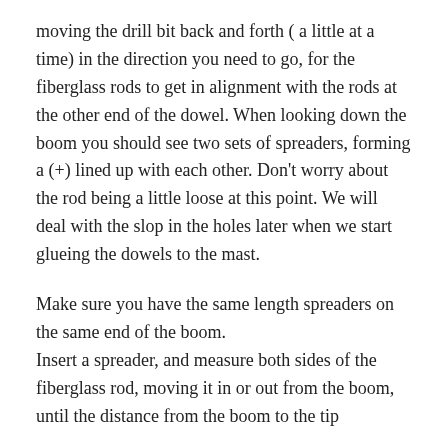moving the drill bit back and forth ( a little at a time) in the direction you need to go, for the fiberglass rods to get in alignment with the rods at the other end of the dowel. When looking down the boom you should see two sets of spreaders, forming a (+) lined up with each other. Don't worry about the rod being a little loose at this point. We will deal with the slop in the holes later when we start glueing the dowels to the mast.
Make sure you have the same length spreaders on the same end of the boom.
Insert a spreader, and measure both sides of the fiberglass rod, moving it in or out from the boom, until the distance from the boom to the tip